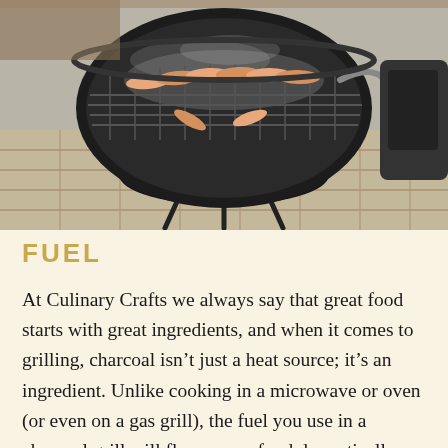[Figure (photo): A round black charcoal kettle grill outdoors with hot dogs or sausages cooking on the grate, smoke rising, set on a patio with brick pavers visible in the background.]
FUEL
At Culinary Crafts we always say that great food starts with great ingredients, and when it comes to grilling, charcoal isn't just a heat source; it's an ingredient. Unlike cooking in a microwave or oven (or even on a gas grill), the fuel you use in a charcoal grill will flavor your food dramatically, so it's important to choose your fuel carefully